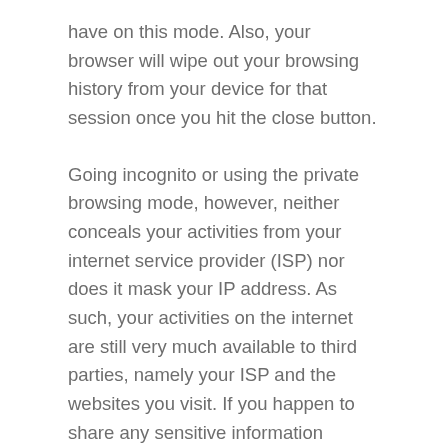have on this mode. Also, your browser will wipe out your browsing history from your device for that session once you hit the close button.
Going incognito or using the private browsing mode, however, neither conceals your activities from your internet service provider (ISP) nor does it mask your IP address. As such, your activities on the internet are still very much available to third parties, namely your ISP and the websites you visit. If you happen to share any sensitive information online, these third parties will most likely have access to your personal and privileged information, even without your consent.
If you can see the bigger picture now, going